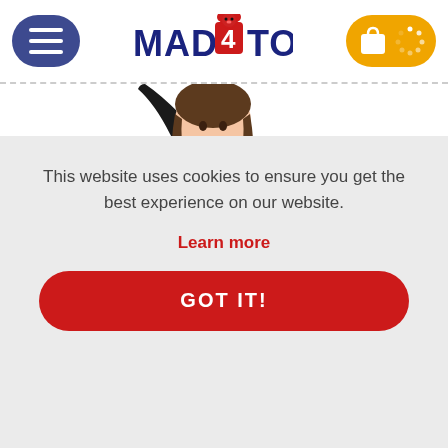[Figure (logo): Mad4Toys website header with hamburger menu, logo, and cart/loading icon]
[Figure (photo): Partial view of a doll wearing a black sparkly top with gold design and teal skirt, one arm raised]
This website uses cookies to ensure you get the best experience on our website.
Learn more
GOT IT!
with Comb